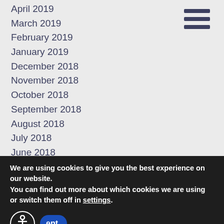April 2019
March 2019
February 2019
January 2019
December 2018
November 2018
October 2018
September 2018
August 2018
July 2018
June 2018
May 2018
April 2018
March 2018
February 2018
January 2018
December 2017
We are using cookies to give you the best experience on our website.
You can find out more about which cookies we are using or switch them off in settings.